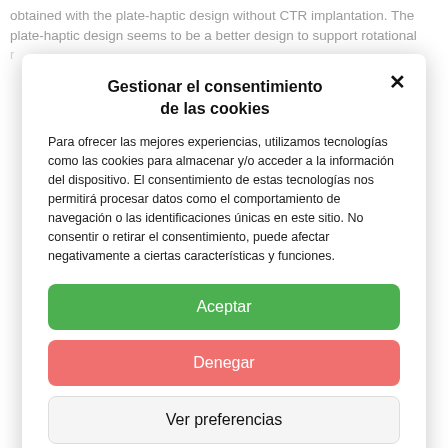obtained with the plate-haptic design without CTR implantation. The plate-haptic design seems to be a better design to support rotational
Gestionar el consentimiento de las cookies
Para ofrecer las mejores experiencias, utilizamos tecnologías como las cookies para almacenar y/o acceder a la información del dispositivo. El consentimiento de estas tecnologías nos permitirá procesar datos como el comportamiento de navegación o las identificaciones únicas en este sitio. No consentir o retirar el consentimiento, puede afectar negativamente a ciertas características y funciones.
Aceptar
Denegar
Ver preferencias
Política de cookies  Aviso Legal  Aviso Legal